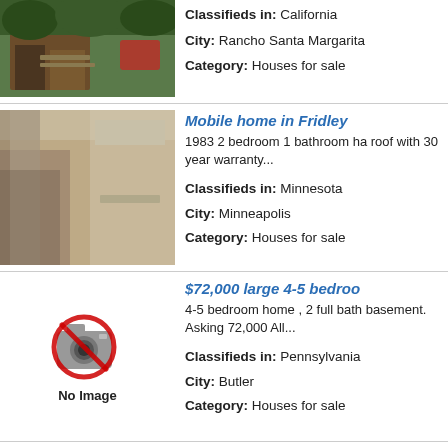[Figure (photo): Outdoor photo of a wooden structure or cabin with trees and rocks, partially visible red vehicle in background]
Classifieds in: California
City: Rancho Santa Margarita
Category: Houses for sale
[Figure (photo): Interior blurry photo of a hallway or room with wooden floors and light through windows]
Mobile home in Fridley
1983 2 bedroom 1 bathroom ha roof with 30 year warranty...
Classifieds in: Minnesota
City: Minneapolis
Category: Houses for sale
[Figure (illustration): No Image placeholder with camera crossed out icon]
$72,000 large 4-5 bedroo
4-5 bedroom home , 2 full bath basement. Asking 72,000 All...
Classifieds in: Pennsylvania
City: Butler
Category: Houses for sale